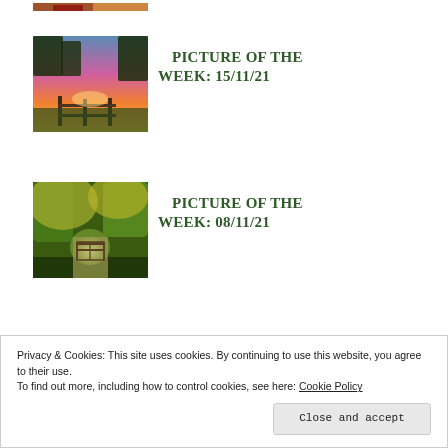[Figure (photo): Partial top of a photo visible at the very top of the page — appears to show a barn or rural building]
[Figure (photo): Landscape photo of a countryside sunset with pink and orange sky, wooden fence in foreground]
PICTURE OF THE WEEK: 15/11/21
[Figure (photo): Photo of a tree-lined path or lane with green autumn foliage and a gate in the distance]
PICTURE OF THE WEEK: 08/11/21
Privacy & Cookies: This site uses cookies. By continuing to use this website, you agree to their use.
To find out more, including how to control cookies, see here: Cookie Policy